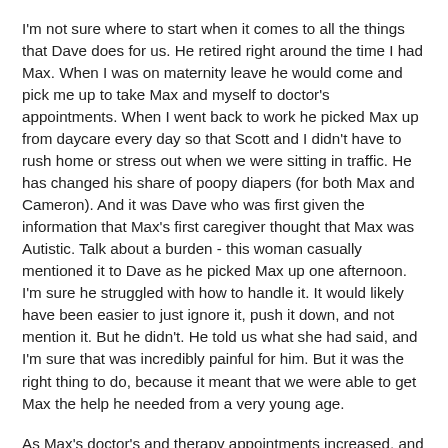I'm not sure where to start when it comes to all the things that Dave does for us. He retired right around the time I had Max. When I was on maternity leave he would come and pick me up to take Max and myself to doctor's appointments. When I went back to work he picked Max up from daycare every day so that Scott and I didn't have to rush home or stress out when we were sitting in traffic. He has changed his share of poopy diapers (for both Max and Cameron). And it was Dave who was first given the information that Max's first caregiver thought that Max was Autistic. Talk about a burden - this woman casually mentioned it to Dave as he picked Max up one afternoon. I'm sure he struggled with how to handle it. It would likely have been easier to just ignore it, push it down, and not mention it. But he didn't. He told us what she had said, and I'm sure that was incredibly painful for him. But it was the right thing to do, because it meant that we were able to get Max the help he needed from a very young age.
As Max's doctor's and therapy appointments increased, and the juggling of needing to be at X location at Y time began, Dave was there for us. He never made us feel as if he was